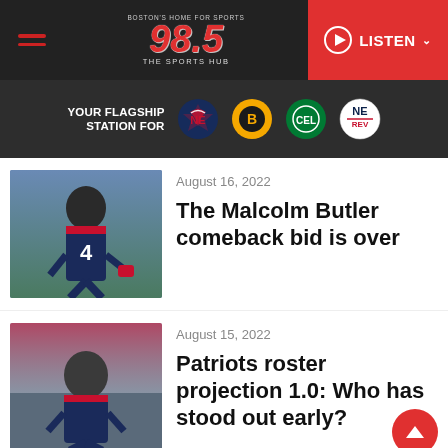[Figure (screenshot): 98.5 The Sports Hub website header with navigation, logo, LISTEN button, and flagship station logos for Patriots, Bruins, Celtics, and Revolution]
[Figure (photo): Malcolm Butler wearing New England Patriots #4 jersey at practice]
August 16, 2022
The Malcolm Butler comeback bid is over
[Figure (photo): Bill Belichick in New England Patriots coaching attire on the field]
August 15, 2022
Patriots roster projection 1.0: Who has stood out early?